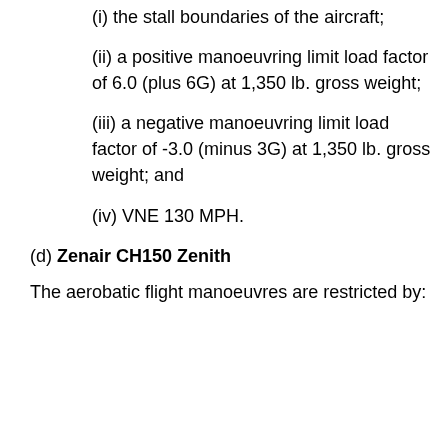(i) the stall boundaries of the aircraft;
(ii) a positive manoeuvring limit load factor of 6.0 (plus 6G) at 1,350 lb. gross weight;
(iii) a negative manoeuvring limit load factor of -3.0 (minus 3G) at 1,350 lb. gross weight; and
(iv) VNE 130 MPH.
(d) Zenair CH150 Zenith
The aerobatic flight manoeuvres are restricted by: